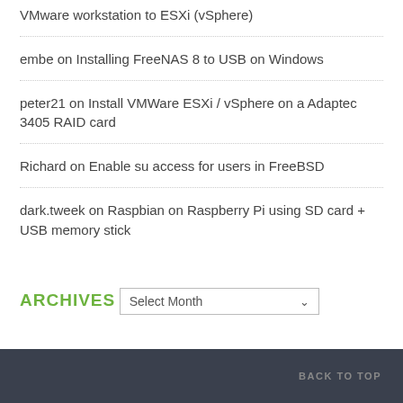VMware workstation to ESXi (vSphere)
embe on Installing FreeNAS 8 to USB on Windows
peter21 on Install VMWare ESXi / vSphere on a Adaptec 3405 RAID card
Richard on Enable su access for users in FreeBSD
dark.tweek on Raspbian on Raspberry Pi using SD card + USB memory stick
ARCHIVES
Select Month
BACK TO TOP